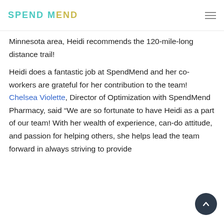SPEND MEND
Minnesota area, Heidi recommends the 120-mile-long distance trail!
Heidi does a fantastic job at SpendMend and her co-workers are grateful for her contribution to the team! Chelsea Violette, Director of Optimization with SpendMend Pharmacy, said “We are so fortunate to have Heidi as a part of our team! With her wealth of experience, can-do attitude, and passion for helping others, she helps lead the team forward in always striving to provide the highest quality 340B compliance support to...